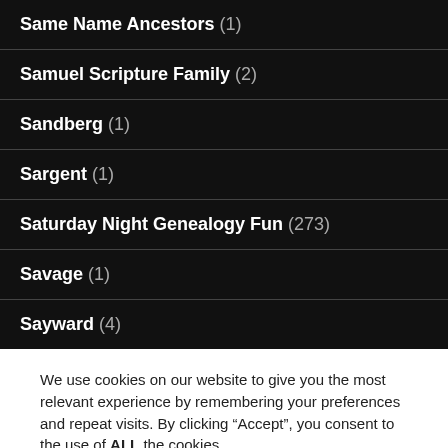Same Name Ancestors (1)
Samuel Scripture Family (2)
Sandberg (1)
Sargent (1)
Saturday Night Genealogy Fun (273)
Savage (1)
Sayward (4)
We use cookies on our website to give you the most relevant experience by remembering your preferences and repeat visits. By clicking “Accept”, you consent to the use of ALL the cookies.
Do not sell my personal information.
Cookie settings   ACCEPT